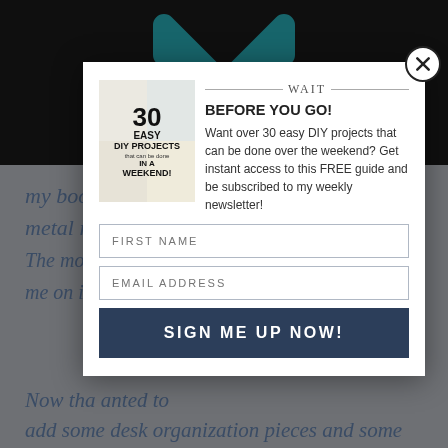[Figure (screenshot): Background page with dark header area showing teal chevron/arrow logo, and light blue-gray content area with blue italic text partially visible behind a modal overlay]
[Figure (infographic): Modal popup dialog with close button (X), book cover image for '30 Easy DIY Projects that can be done in a Weekend', headline 'WAIT / BEFORE YOU GO!', description text about free guide, first name input, email address input, and 'SIGN ME UP NOW!' button]